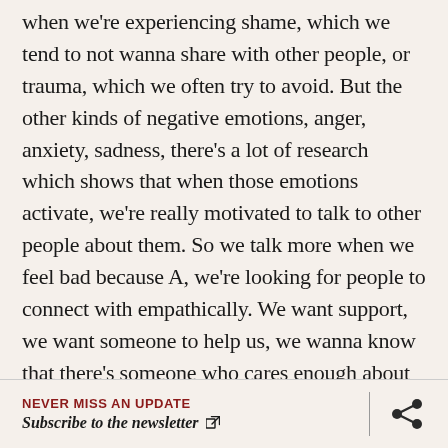when we're experiencing shame, which we tend to not wanna share with other people, or trauma, which we often try to avoid. But the other kinds of negative emotions, anger, anxiety, sadness, there's a lot of research which shows that when those emotions activate, we're really motivated to talk to other people about them. So we talk more when we feel bad because A, we're looking for people to connect with empathically. We want support, we want someone to help us, we wanna know that there's someone who cares enough about us that they're willing to listen. And so finding someone to talk to can be great for that. You're sharing your experience and you're connecting with another person. But what we also are looking for is advice or help broadening our perspectives. So when we experience chatter, when our inner monologues take a wrong turn and lead to worry and
NEVER MISS AN UPDATE
Subscribe to the newsletter